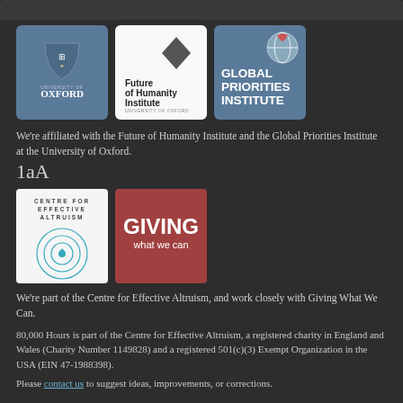[Figure (logo): University of Oxford logo - blue/grey background with shield crest and UNIVERSITY OF OXFORD text]
[Figure (logo): Future of Humanity Institute logo - white background with diamond shape and text]
[Figure (logo): Global Priorities Institute logo - grey/blue background with globe icon and text]
We're affiliated with the Future of Humanity Institute and the Global Priorities Institute at the University of Oxford.
1aA
[Figure (logo): Centre for Effective Altruism logo - white background with concentric circles icon]
[Figure (logo): Giving What We Can logo - dark red/maroon background with GIVING what we can text]
We're part of the Centre for Effective Altruism, and work closely with Giving What We Can.
80,000 Hours is part of the Centre for Effective Altruism, a registered charity in England and Wales (Charity Number 1149828) and a registered 501(c)(3) Exempt Organization in the USA (EIN 47-1988398).
Please contact us to suggest ideas, improvements, or corrections.